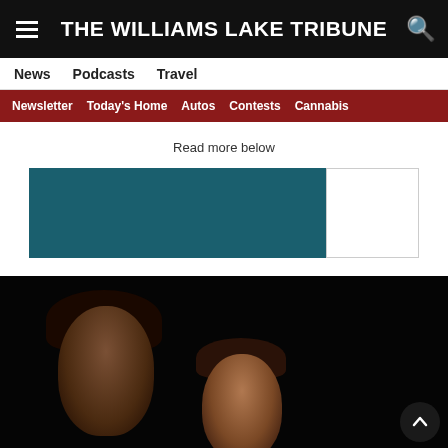THE WILLIAMS LAKE TRIBUNE
News  Podcasts  Travel
Newsletter  Today's Home  Autos  Contests  Cannabis
Read more below
[Figure (other): Advertisement banner with teal/dark teal left section and white right section]
[Figure (photo): Two people photographed against a dark/black background, one taller with dark hair on left, one shorter on right]
[Figure (other): Advertisement for Personal Support & Mental Health Worker Certificate Program. Starting Date: Monday, August 22nd. Open to Applicants in Prince George, Quesnel, Williams Lake & Smithers BC. Logos: AWARE Society, DCC Discovery College, Canada, British Columbia.]